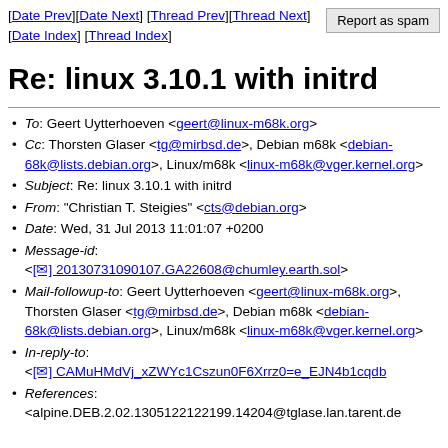[Date Prev][Date Next] [Thread Prev][Thread Next] [Date Index] [Thread Index]
Re: linux 3.10.1 with initrd
To: Geert Uytterhoeven <geert@linux-m68k.org>
Cc: Thorsten Glaser <tg@mirbsd.de>, Debian m68k <debian-68k@lists.debian.org>, Linux/m68k <linux-m68k@vger.kernel.org>
Subject: Re: linux 3.10.1 with initrd
From: "Christian T. Steigies" <cts@debian.org>
Date: Wed, 31 Jul 2013 11:01:07 +0200
Message-id: <[✉] 20130731090107.GA22608@chumley.earth.sol>
Mail-followup-to: Geert Uytterhoeven <geert@linux-m68k.org>, Thorsten Glaser <tg@mirbsd.de>, Debian m68k <debian-68k@lists.debian.org>, Linux/m68k <linux-m68k@vger.kernel.org>
In-reply-to: <[✉] CAMuHMdVj_xZWYc1Cszun0F6Xrrz0=e_EJN4b1cqdb...
References: <alpine.DEB.2.02.1305122122199.14204@tglase.lan.tarent.de...